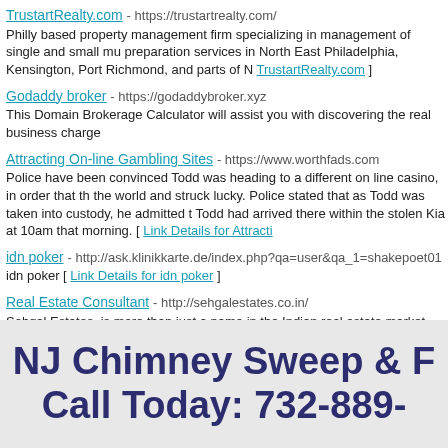TrustartRealty.com - https://trustartrealty.com/
Philly based property management firm specializing in management of single and small mu... preparation services in North East Philadelphia, Kensington, Port Richmond, and parts of N... TrustartRealty.com ]
Godaddy broker - https://godaddybroker.xyz
This Domain Brokerage Calculator will assist you with discovering the real business charge...
Attracting On-line Gambling Sites - https://www.worthfads.com
Police have been convinced Todd was heading to a different on line casino, in order that th... the world and struck lucky. Police stated that as Todd was taken into custody, he admitted t... Todd had arrived there within the stolen Kia at 10am that morning. [ Link Details for Attracti...
idn poker - http://ask.klinikkarte.de/index.php?qa=user&qa_1=shakepoet01
idn poker [ Link Details for idn poker ]
Real Estate Consultant - http://sehgalestates.co.in/
Sehgal Estates, is more than just a name in the Indian real estate market. The constant inv... high dividends for Sehgal Estates in the form of smiles and trust. [ Link Details for Real Est...
Houlihan Lawrence - https://sherrywiggs.houlihanlawrence.com/agents_offices
I am an aggressive listing agent that uses an broad marketing platform and works closely w... obtain maximum value. As a realtor, investor, landlord and homeowner, I have all the resou... I am in the top 2 percent of Westchester county. [ Link Details for Houlihan Lawrence ]
Find 3 BHK and 4 BHK Home with Propshop - http://www.propshop-india.com/
Propshop Real Estate Consultant leads in 2/3/4 BHK luxury residential & commercial & tru... Ghaziabad & Delhi NCR. [ Link Details for Find 3 BHK and 4 BHK Home with Propshop ]
NJ Chimney Sweep & F
Call Today: 732-889-